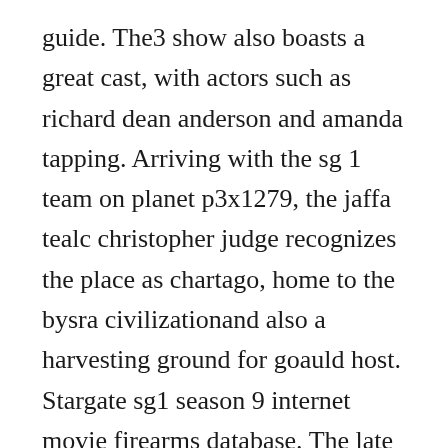guide. The3 show also boasts a great cast, with actors such as richard dean anderson and amanda tapping. Arriving with the sg 1 team on planet p3x1279, the jaffa tealc christopher judge recognizes the place as chartago, home to the bysra civilizationand also a harvesting ground for goauld host. Stargate sg1 season 9 internet movie firearms database. The late season 2 episode serpents song was the first sg 1 episode that was directed by peter deluise. Its melding of action, drama, and of course science fiction is spectacular. Jun, 2017 from the episode enigma description